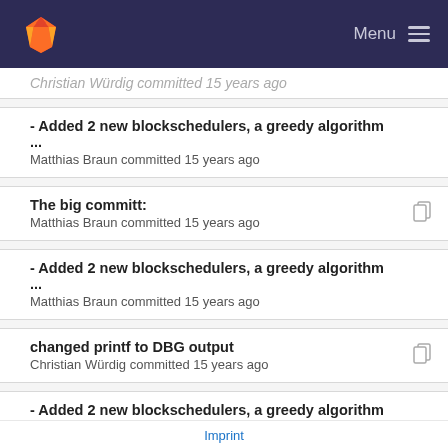GitLab — Menu
Christian Würdig committed 15 years ago
- Added 2 new blockschedulers, a greedy algorithm ...
Matthias Braun committed 15 years ago
The big committ:
Matthias Braun committed 15 years ago
- Added 2 new blockschedulers, a greedy algorithm ...
Matthias Braun committed 15 years ago
changed printf to DBG output
Christian Würdig committed 15 years ago
- Added 2 new blockschedulers, a greedy algorithm ...
Matthias Braun committed 15 years ago
changed printf to DBG output
Christian Würdig committed 15 years ago
Imprint